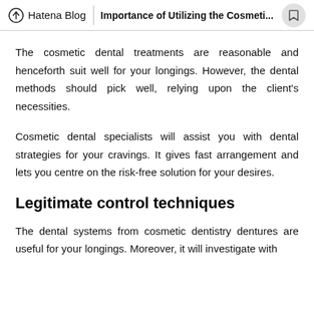Hatena Blog — Importance of Utilizing the Cosmeti...
The cosmetic dental treatments are reasonable and henceforth suit well for your longings. However, the dental methods should pick well, relying upon the client's necessities.
Cosmetic dental specialists will assist you with dental strategies for your cravings. It gives fast arrangement and lets you centre on the risk-free solution for your desires.
Legitimate control techniques
The dental systems from cosmetic dentistry dentures are useful for your longings. Moreover, it will investigate with